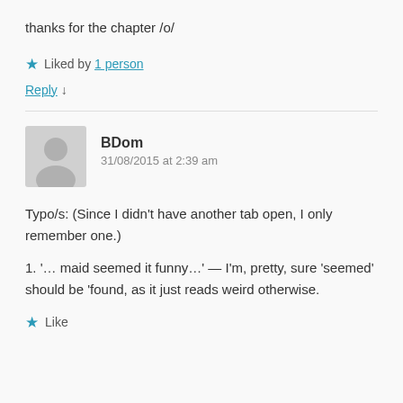thanks for the chapter /o/
★ Liked by 1 person
Reply ↓
BDom
31/08/2015 at 2:39 am
Typo/s: (Since I didn't have another tab open, I only remember one.)
1. '… maid seemed it funny…' — I'm, pretty, sure 'seemed' should be 'found, as it just reads weird otherwise.
★ Like